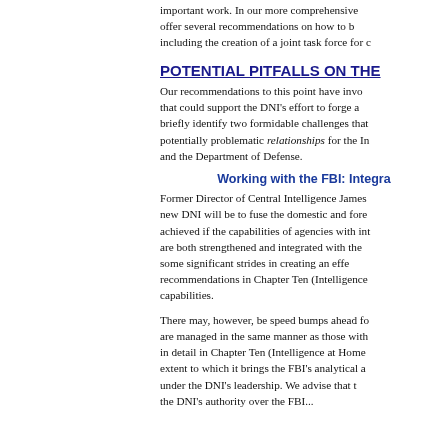important work. In our more comprehensive offer several recommendations on how to b including the creation of a joint task force for c
POTENTIAL PITFALLS ON THE
Our recommendations to this point have invo that could support the DNI's effort to forge a briefly identify two formidable challenges that potentially problematic relationships for the In and the Department of Defense.
Working with the FBI: Integra
Former Director of Central Intelligence James new DNI will be to fuse the domestic and fore achieved if the capabilities of agencies with int are both strengthened and integrated with the some significant strides in creating an effe recommendations in Chapter Ten (Intelligence capabilities.
There may, however, be speed bumps ahead fo are managed in the same manner as those with in detail in Chapter Ten (Intelligence at Home extent to which it brings the FBI's analytical a under the DNI's leadership. We advise that t the DNI's authority over the FBI...